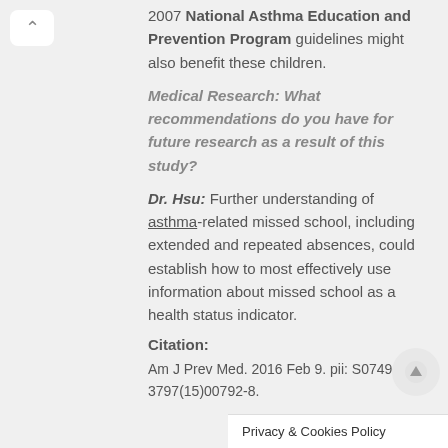2007 National Asthma Education and Prevention Program guidelines might also benefit these children.
Medical Research: What recommendations do you have for future research as a result of this study?
Dr. Hsu: Further understanding of asthma-related missed school, including extended and repeated absences, could establish how to most effectively use information about missed school as a health status indicator.
Citation:
Am J Prev Med. 2016 Feb 9. pii: S0749-3797(15)00792-8.
Privacy & Cookies Policy